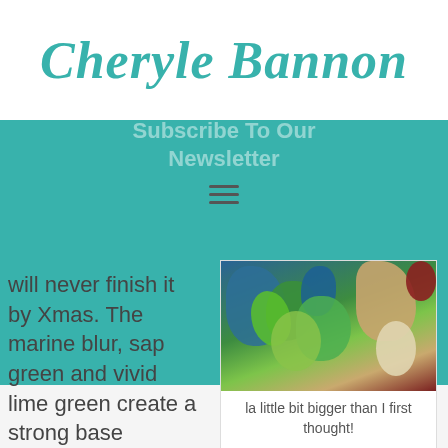Cheryle Bannon
Subscribe To Our Newsletter
will never finish it by Xmas. The marine blur, sap green and vivid lime green create a strong base
[Figure (photo): Art craft photo showing painted bottles or jars with marine blue, sap green and vivid lime green colors on a sandy/wooden surface]
la little bit bigger than I first thought!